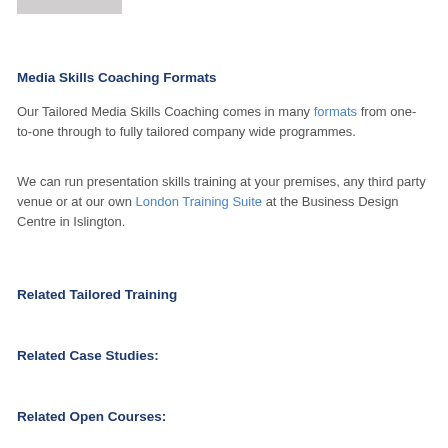[Figure (photo): Partial cropped photo of a person, only the bottom portion visible at the top of the page]
Media Skills Coaching Formats
Our Tailored Media Skills Coaching comes in many formats from one-to-one through to fully tailored company wide programmes.
We can run presentation skills training at your premises, any third party venue or at our own London Training Suite at the Business Design Centre in Islington.
Related Tailored Training
Related Case Studies:
Related Open Courses: